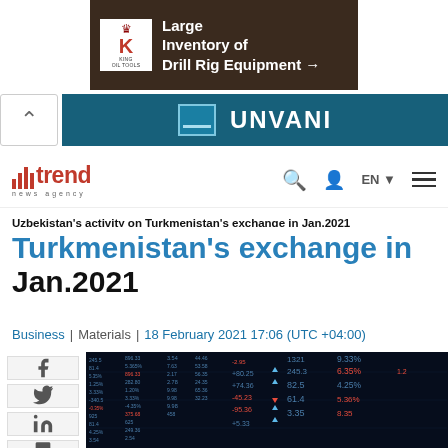[Figure (photo): King Oil Tools advertisement banner: 'Large Inventory of Drill Rig Equipment →']
[Figure (other): Secondary advertisement banner with UNVANI text on teal background]
[Figure (logo): Trend News Agency logo with red bars and wordmark]
Uzbekistan's activity on Turkmenistan's exchange in Jan.2021
Business | Materials | 18 February 2021 17:06 (UTC +04:00)
[Figure (photo): Stock market ticker board showing financial data with blue and red numbers, arrows indicating gains and losses]